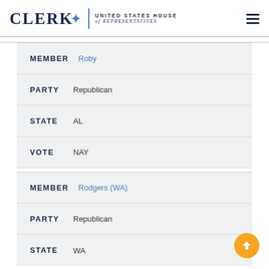CLERK UNITED STATES HOUSE of REPRESENTATIVES
| Field | Value |
| --- | --- |
| MEMBER | Roby |
| PARTY | Republican |
| STATE | AL |
| VOTE | NAY |
| MEMBER | Rodgers (WA) |
| PARTY | Republican |
| STATE | WA |